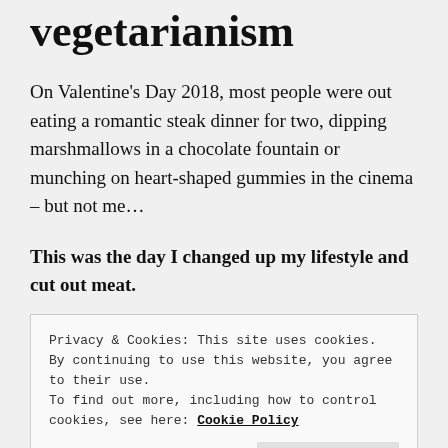vegetarianism
On Valentine’s Day 2018, most people were out eating a romantic steak dinner for two, dipping marshmallows in a chocolate fountain or munching on heart-shaped gummies in the cinema – but not me…
This was the day I changed up my lifestyle and cut out meat.
Privacy & Cookies: This site uses cookies. By continuing to use this website, you agree to their use.
To find out more, including how to control cookies, see here: Cookie Policy
Close and accept
farmer friends claiming that I’m ‘ruining’ their business